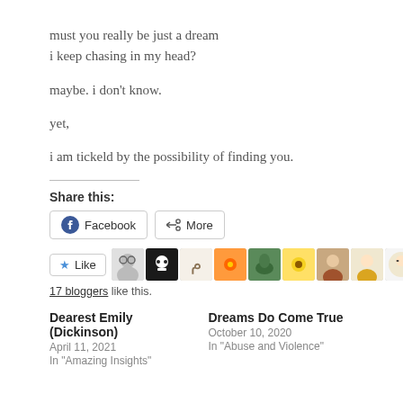must you really be just a dream
i keep chasing in my head?
maybe. i don't know.
yet,
i am tickeld by the possibility of finding you.
Share this:
Facebook   More
Like   17 bloggers like this.
Dearest Emily (Dickinson)
April 11, 2021
In "Amazing Insights"
Dreams Do Come True
October 10, 2020
In "Abuse and Violence"